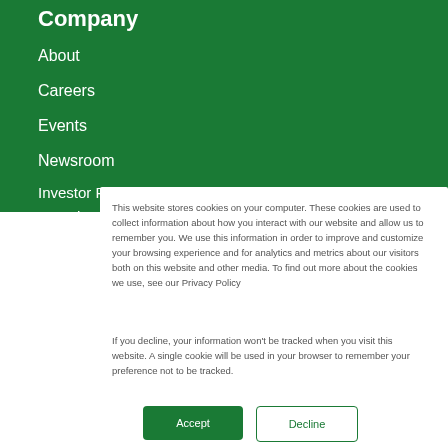Company
About
Careers
Events
Newsroom
Investor Relations
Awards
This website stores cookies on your computer. These cookies are used to collect information about how you interact with our website and allow us to remember you. We use this information in order to improve and customize your browsing experience and for analytics and metrics about our visitors both on this website and other media. To find out more about the cookies we use, see our Privacy Policy
If you decline, your information won’t be tracked when you visit this website. A single cookie will be used in your browser to remember your preference not to be tracked.
Accept
Decline